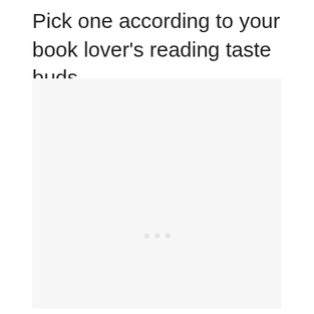Pick one according to your book lover's reading taste buds.
[Figure (photo): A nearly blank light gray rectangular image placeholder area with faint dots visible in the center, suggesting an image that did not fully load or a placeholder graphic.]